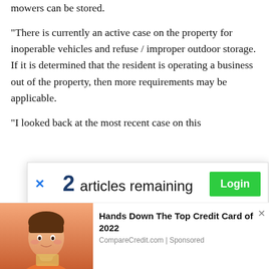mowers can be stored.
"There is currently an active case on the property for inoperable vehicles and refuse / improper outdoor storage. If it is determined that the resident is operating a business out of the property, then more requirements may be applicable.
"I looked back at the most recent case on this
[Figure (screenshot): Paywall modal overlay showing '2 articles remaining' with a Login button (green), support local journalism text, and a Subscribe button (blue). An 'x' close button is at top left.]
[Figure (infographic): Advertisement banner at bottom: photo of a young woman on the left, text 'Hands Down The Top Credit Card of 2022' with source 'CompareCredit.com | Sponsored' on the right.]